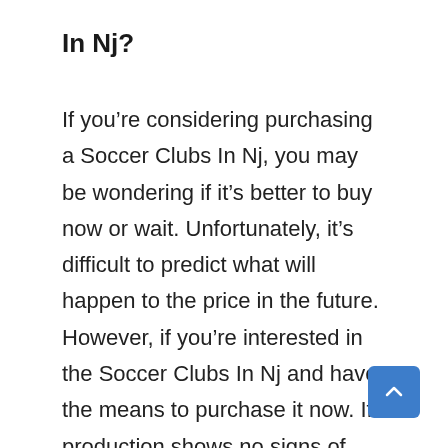In Nj?
If you’re considering purchasing a Soccer Clubs In Nj, you may be wondering if it’s better to buy now or wait. Unfortunately, it’s difficult to predict what will happen to the price in the future. However, if you’re interested in the Soccer Clubs In Nj and have the means to purchase it now. If production shows no signs of slowing down, it might be worth buying now so you can enjoy your purchase sooner rather than later. However, if production